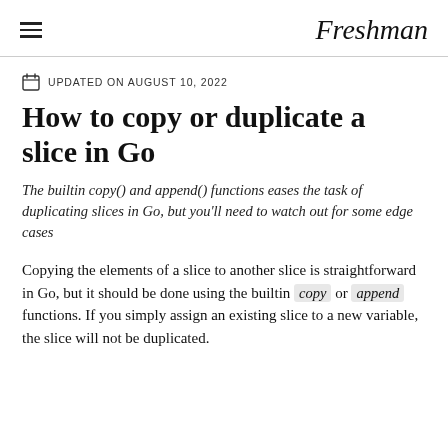Freshman
UPDATED ON AUGUST 10, 2022
How to copy or duplicate a slice in Go
The builtin copy() and append() functions eases the task of duplicating slices in Go, but you'll need to watch out for some edge cases
Copying the elements of a slice to another slice is straightforward in Go, but it should be done using the builtin copy or append functions. If you simply assign an existing slice to a new variable, the slice will not be duplicated.